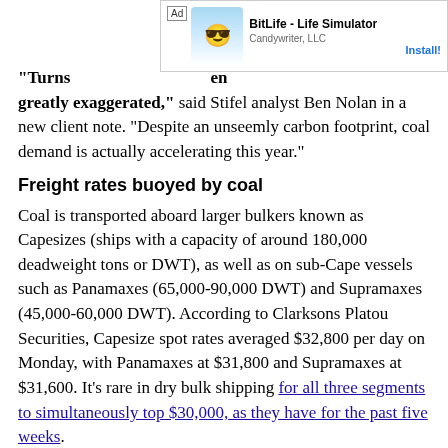[Figure (other): Advertisement banner for BitLife - Life Simulator by Candywriter, LLC with an Install! button]
“Turns [out that reports of coal’s death have be]en greatly exaggerated,” said Stifel analyst Ben Nolan in a new client note. “Despite an unseemly carbon footprint, coal demand is actually accelerating this year.”
Freight rates buoyed by coal
Coal is transported aboard larger bulkers known as Capesizes (ships with a capacity of around 180,000 deadweight tons or DWT), as well as on sub-Cape vessels such as Panamaxes (65,000-90,000 DWT) and Supramaxes (45,000-60,000 DWT). According to Clarksons Platou Securities, Capesize spot rates averaged $32,800 per day on Monday, with Panamaxes at $31,800 and Supramaxes at $31,600. It’s rare in dry bulk shipping for all three segments to simultaneously top $30,000, as they have for the past five weeks.
“Strong activity in the coal markets as well as robust minor bulk demand are driving the shipping of one of the most …